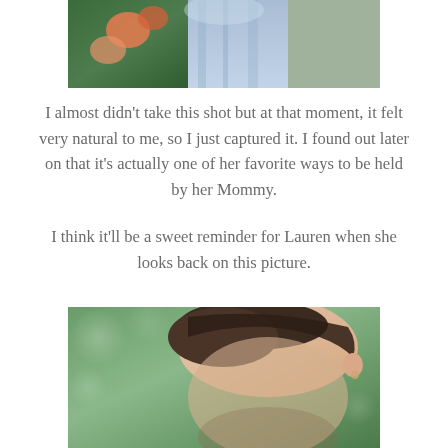[Figure (photo): Top partial photo showing a woman in a light blue dress holding a child, with blurred roses and green foliage in the background.]
I almost didn't take this shot but at that moment, it felt very natural to me, so I just captured it. I found out later on that it's actually one of her favorite ways to be held by her Mommy.

I think it'll be a sweet reminder for Lauren when she looks back on this picture.
[Figure (photo): Bottom partial photo showing a close-up of a woman with dark hair pulled back, looking downward, with soft bokeh green background.]